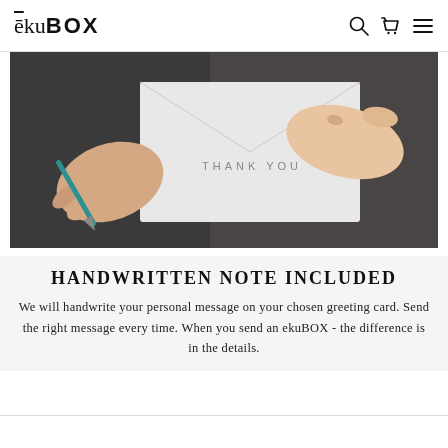ēkuBOX
[Figure (photo): Two hands writing on a 'Thank You' greeting card with a pen on a dark table background]
HANDWRITTEN NOTE INCLUDED
We will handwrite your personal message on your chosen greeting card. Send the right message every time. When you send an ekuBOX - the difference is in the details.